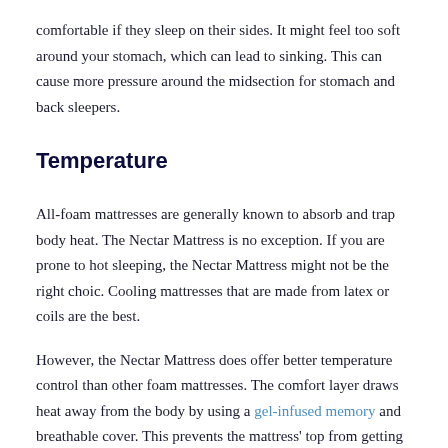comfortable if they sleep on their sides. It might feel too soft around your stomach, which can lead to sinking. This can cause more pressure around the midsection for stomach and back sleepers.
Temperature
All-foam mattresses are generally known to absorb and trap body heat. The Nectar Mattress is no exception. If you are prone to hot sleeping, the Nectar Mattress might not be the right choic. Cooling mattresses that are made from latex or coils are the best.
However, the Nectar Mattress does offer better temperature control than other foam mattresses. The comfort layer draws heat away from the body by using a gel-infused memory and breathable cover. This prevents the mattress' top from getting too hot.